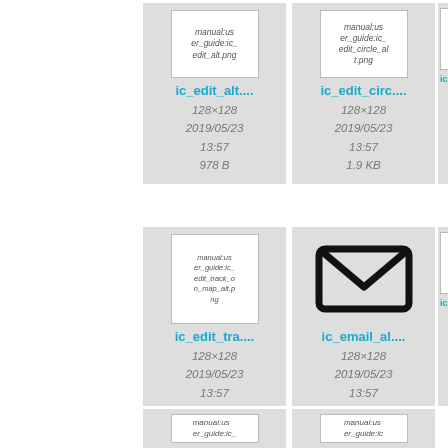[Figure (screenshot): File browser grid view showing icon tiles for image files. Row 1: ic_edit_alt (128x128, 2019/05/23 13:57, 978 B), ic_edit_circle_alt (128x128, 2019/05/23 13:57, 1.9 KB), partially visible third tile. Row 2: ic_edit_track_on_map_alt (128x128, 2019/05/23 13:57, 2.1 KB), ic_email_alt (128x128, 2019/05/23 13:57, 1.6 KB), partially visible third tile. Row 3: Two partially visible tiles at bottom.]